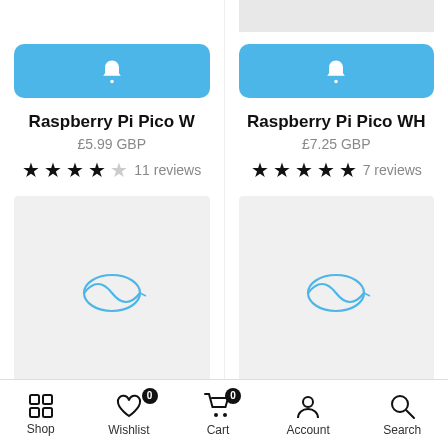[Figure (screenshot): Blue notification bell button for Raspberry Pi Pico W]
Raspberry Pi Pico W
£5.99 GBP
★★★★☆ 11 reviews
[Figure (illustration): Product image placeholder with loading icon for Raspberry Pi Pico W]
[Figure (screenshot): Blue notification bell button for Raspberry Pi Pico WH]
Raspberry Pi Pico WH
£7.25 GBP
★★★★★ 7 reviews
[Figure (illustration): Product image placeholder with loading icon for Raspberry Pi Pico WH]
Shop  Wishlist 0  Cart 0  Account  Search